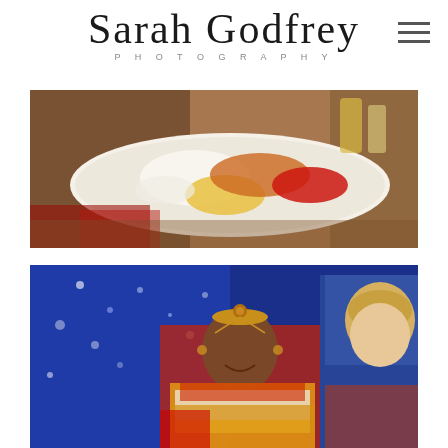Sarah Godfrey PHOTOGRAPHY
[Figure (photo): Close-up photo of a white plate with colorful powders and spices - turmeric yellow, orange, red, and white - used in Indian wedding ceremony (haldi/kumkum ritual)]
[Figure (photo): Indian wedding photo showing a smiling bride wearing traditional bridal jewelry (maang tikka, head ornaments) and a red saree, adorned with large yellow and white flower garlands, alongside a blonde groom also wearing flower garlands, against a blue sparkly backdrop]